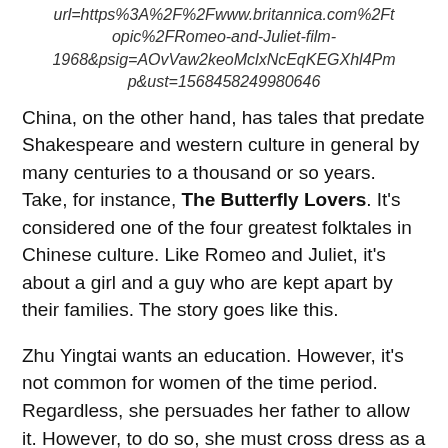url=https%3A%2F%2Fwww.britannica.com%2Ftopic%2FRomeo-and-Juliet-film-1968&psig=AOvVaw2keoMclxNcEqKEGXhl4Pmp&ust=1568458249980646
China, on the other hand, has tales that predate Shakespeare and western culture in general by many centuries to a thousand or so years. Take, for instance, The Butterfly Lovers. It's considered one of the four greatest folktales in Chinese culture. Like Romeo and Juliet, it's about a girl and a guy who are kept apart by their families. The story goes like this.
Zhu Yingtai wants an education. However, it's not common for women of the time period. Regardless, she persuades her father to allow it. However, to do so, she must cross dress as a man. During three years of study, she falls in love with her classmate, Liang Shanbo. He does not catch on at first, so Zhu insists that she play the role of matchmaker so Liang can marry her “sister.” However,  Zhu is the only girl in